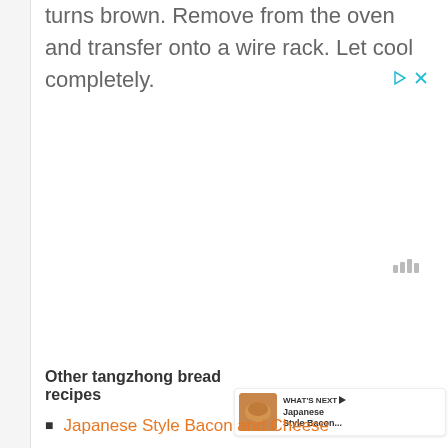turns brown. Remove from the oven and transfer onto a wire rack. Let cool completely.
[Figure (screenshot): Ad control icons: play triangle and X close button in teal/cyan color]
[Figure (screenshot): Heart/like button (teal circle), count of 33, share button, and signal bars icon]
[Figure (screenshot): What's Next panel showing a bread image thumbnail with text 'Japanese Style Bacon...']
Other tangzhong bread recipes
Japanese Style Bacon and Cheese